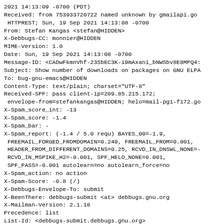2021 14:13:09 -0700 (PDT)
Received: from 753933720722 named unknown by gmailapi.go
 HTTPREST; Sun, 19 Sep 2021 14:13:08 -0700
From: Stefan Kangas <stefan@HIDDEN>
X-Debbugs-CC: monnier@HIDDEN
MIME-Version: 1.0
Date: Sun, 19 Sep 2021 14:13:08 -0700
Message-ID: <CADwFkmnVhf-23SbEC3K-i9mAxani_bNWSbv8E8MPQ4:
Subject: Show number of downloads on packages on GNU ELPA
To: bug-gnu-emacs@HIDDEN
Content-Type: text/plain; charset="UTF-8"
Received-SPF: pass client-ip=209.85.215.172;
 envelope-from=stefankangas@HIDDEN; helo=mail-pg1-f172.go
X-Spam_score_int: -13
X-Spam_score: -1.4
X-Spam_bar: -
X-Spam_report: (-1.4 / 5.0 requ) BAYES_00=-1.9,
 FREEMAIL_FORGED_FROMDOMAIN=0.249, FREEMAIL_FROM=0.001,
 HEADER_FROM_DIFFERENT_DOMAINS=0.25, RCVD_IN_DNSWL_NONE=-
 RCVD_IN_MSPIKE_H2=-0.001, SPF_HELO_NONE=0.001,
 SPF_PASS=-0.001 autolearn=no autolearn_force=no
X-Spam_action: no action
X-Spam-Score: -0.8 (/)
X-Debbugs-Envelope-To: submit
X-BeenThere: debbugs-submit <at> debbugs.gnu.org
X-Mailman-Version: 2.1.18
Precedence: list
List-Id: <debbugs-submit.debbugs.gnu.org>
List-Unsubscribe: <https://debbugs.gnu.org/cgi-bin/mailma
 <mailto:debbugs-submit-request <at> debbugs.gnu.org?sub